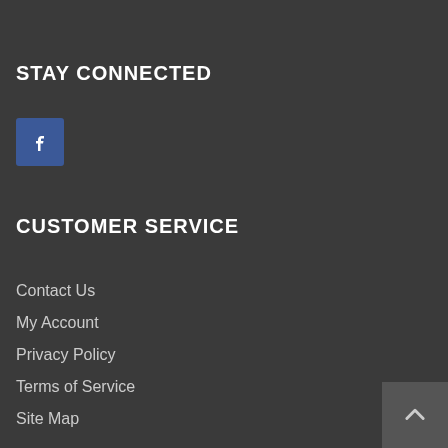STAY CONNECTED
[Figure (logo): Facebook social media icon — blue square with white 'f' letter]
CUSTOMER SERVICE
Contact Us
My Account
Privacy Policy
Terms of Service
Site Map